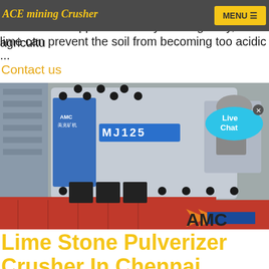ACE mining Crusher  MENU ☰
carbonate, the material is able to neutralize the levels. When applied correctly and regularly, agricultural lime can prevent the soil from becoming too acidic ...
Contact us
[Figure (photo): Large industrial limestone pulverizer/crusher machine labeled MJ125, mounted on a red flatbed truck, with AMC logo visible. Live Chat bubble overlay in top right of image.]
Lime Stone Pulverizer Crusher In Chennai